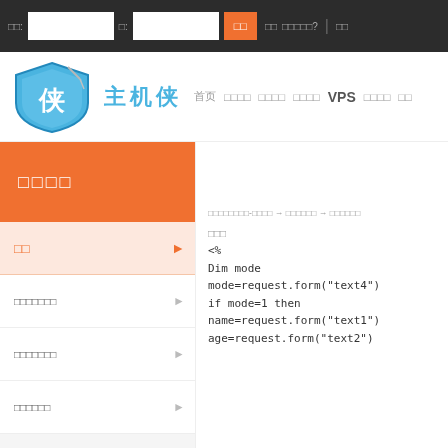□□: [input] □: [input] [登录] 注册 忘记密码? | □□
[Figure (logo): 主机侠 logo with blue shield and sword, zhujixia.com]
首页 虚拟主机 云服务器 独立服务器 VPS 域名注册 □□
□□□□
□□
□□□□□□□
□□□□□□□
□□□□□□
□□□□□□□□-□□□□ → □□□□□□ → □□□□□□
代码
<%
Dim mode
mode=request.form("text4")
if mode=1 then
name=request.form("text1")
age=request.form("text2")